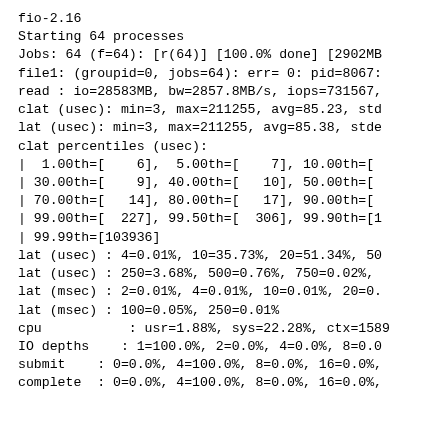fio-2.16
Starting 64 processes
Jobs: 64 (f=64): [r(64)] [100.0% done] [2902MB
file1: (groupid=0, jobs=64): err= 0: pid=8067:
read : io=28583MB, bw=2857.8MB/s, iops=731567,
clat (usec): min=3, max=211255, avg=85.23, std
lat (usec): min=3, max=211255, avg=85.38, stde
clat percentiles (usec):
|  1.00th=[    6],  5.00th=[    7], 10.00th=[
| 30.00th=[    9], 40.00th=[   10], 50.00th=[
| 70.00th=[   14], 80.00th=[   17], 90.00th=[
| 99.00th=[  227], 99.50th=[  306], 99.90th=[1
| 99.99th=[103936]
lat (usec) : 4=0.01%, 10=35.73%, 20=51.34%, 50
lat (usec) : 250=3.68%, 500=0.76%, 750=0.02%,
lat (msec) : 2=0.01%, 4=0.01%, 10=0.01%, 20=0.
lat (msec) : 100=0.05%, 250=0.01%
cpu           : usr=1.88%, sys=22.28%, ctx=1589
IO depths    : 1=100.0%, 2=0.0%, 4=0.0%, 8=0.0
submit    : 0=0.0%, 4=100.0%, 8=0.0%, 16=0.0%,
complete  : 0=0.0%, 4=100.0%, 8=0.0%, 16=0.0%,